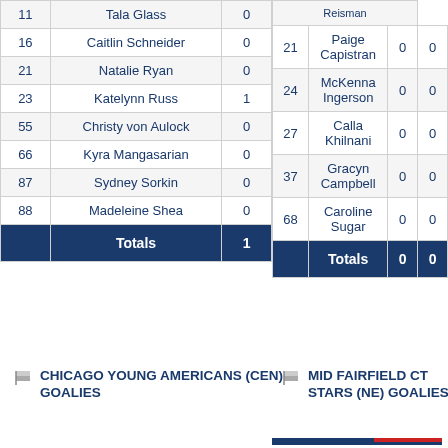| # | Name | Goals |
| --- | --- | --- |
| 11 | Tala Glass | 0 |
| 16 | Caitlin Schneider | 0 |
| 21 | Natalie Ryan | 0 |
| 23 | Katelynn Russ | 1 |
| 55 | Christy von Aulock | 0 |
| 66 | Kyra Mangasarian | 0 |
| 87 | Sydney Sorkin | 0 |
| 88 | Madeleine Shea | 0 |
|  | Totals | 1 |
| # | Name | Col1 | Col2 |
| --- | --- | --- | --- |
|  | Reisman |  |  |
| 21 | Paige Capistran | 0 | 0 |
| 24 | McKenna Ingerson | 0 | 0 |
| 27 | Calla Khilnani | 0 | 0 |
| 37 | Gracyn Campbell | 0 | 0 |
| 68 | Caroline Sugar | 0 | 0 |
|  | Totals | 0 | 0 |
CHICAGO YOUNG AMERICANS (CEN) GOALIES
MID FAIRFIELD CT STARS (NE) GOALIES